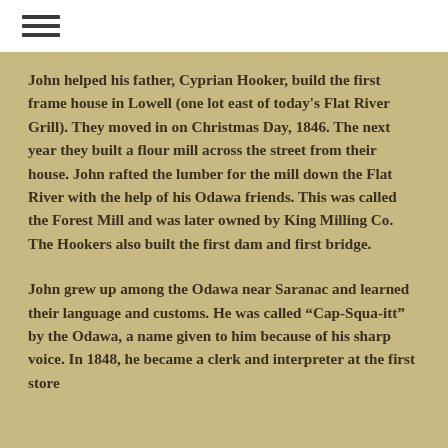John helped his father, Cyprian Hooker, build the first frame house in Lowell (one lot east of today's Flat River Grill). They moved in on Christmas Day, 1846. The next year they built a flour mill across the street from their house. John rafted the lumber for the mill down the Flat River with the help of his Odawa friends. This was called the Forest Mill and was later owned by King Milling Co. The Hookers also built the first dam and first bridge.
John grew up among the Odawa near Saranac and learned their language and customs. He was called “Cap-Squa-itt” by the Odawa, a name given to him because of his sharp voice. In 1848, he became a clerk and interpreter at the first store